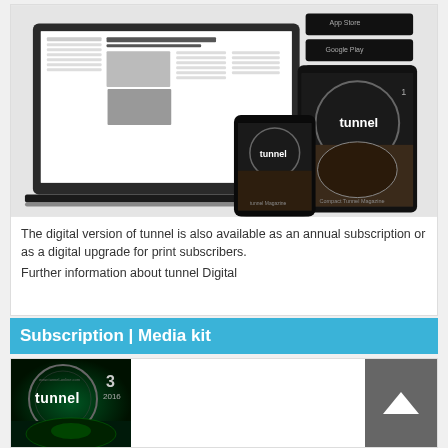[Figure (screenshot): Digital devices (laptop, smartphone, tablet) showing the tunnel magazine digital edition, with App Store, Google Play, and Amazon Appstore badges in top right corner]
The digital version of tunnel is also available as an annual subscription or as a digital upgrade for print subscribers.
Further information about tunnel Digital
Subscription | Media kit
[Figure (photo): Cover of tunnel magazine issue 3 2016 with dark teal/green background and circular logo design]
[Figure (other): Back to top button with upward arrow]